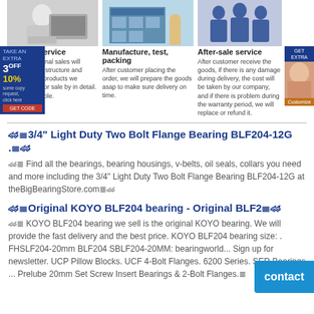[Figure (illustration): Person typing at a computer (pre-sale service image)]
[Figure (illustration): Warehouse/factory building with worker (manufacture, test, packing image)]
[Figure (illustration): Group of workers in blue uniforms (after-sale service image)]
Pre-sale service
Our professional sales will introduce the structure and usage of the products we manufacture or sale by in detail. 24/7 is available.
Manufacture, test, packing
After customer placing the order, we will prepare the goods asap to make sure delivery on time.
After-sale service
After customer receive the goods, if there is any damage during delivery, the cost will be taken by our company, and if there is problem during the warranty period, we will replace or refund it.
🏆≡3/4" Light Duty Two Bolt Flange Bearing BLF204-12G .≡🏆
🏆≡ Find all the bearings, bearing housings, v-belts, oil seals, collars you need and more including the 3/4" Light Duty Two Bolt Flange Bearing BLF204-12G at theBigBearingStore.com≡🏆
🏆≡Original KOYO BLF204 bearing - Original BLF2≡🏆
🏆≡ KOYO BLF204 bearing we sell is the original KOYO bearing. We will provide the fast delivery and the best price. KOYO BLF204 bearing size: . FHSLF204-20mm BLF204 SBLF204-20MM: bearingworld... Sign up for newsletter. UCP Pillow Blocks. UCF 4-Bolt Flanges. 6200 Series. SER Bearings ... Prelube 20mm Set Screw Insert Bearings & 2-Bolt Flanges.≡